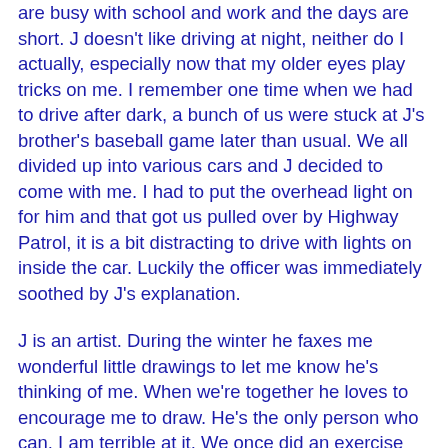are busy with school and work and the days are short. J doesn't like driving at night, neither do I actually, especially now that my older eyes play tricks on me. I remember one time when we had to drive after dark, a bunch of us were stuck at J's brother's baseball game later than usual. We all divided up into various cars and J decided to come with me. I had to put the overhead light on for him and that got us pulled over by Highway Patrol, it is a bit distracting to drive with lights on inside the car. Luckily the officer was immediately soothed by J's explanation.
J is an artist. During the winter he faxes me wonderful little drawings to let me know he's thinking of me. When we're together he loves to encourage me to draw. He's the only person who can. I am terrible at it. We once did an exercise where everybody drew a picture of the animal they were most like, there was a list of animals and their attributes and I chose a bear. In my attempts to make the bear's legs full and fuzzy I created what looked like a tooth with a smiling head. My nieces made fun of me and we all laughed at me and my bear but J was not amused. He disappeared for a bit and when he returned he had with him a giant gold star that